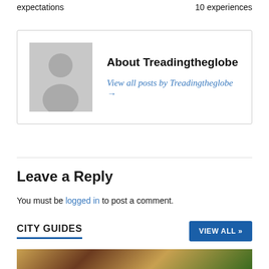expectations	10 experiences
About Treadingtheglobe
View all posts by Treadingtheglobe →
Leave a Reply
You must be logged in to post a comment.
CITY GUIDES
[Figure (photo): Partial bottom image, appears to be an animal or nature scene with orange/brown and green tones]